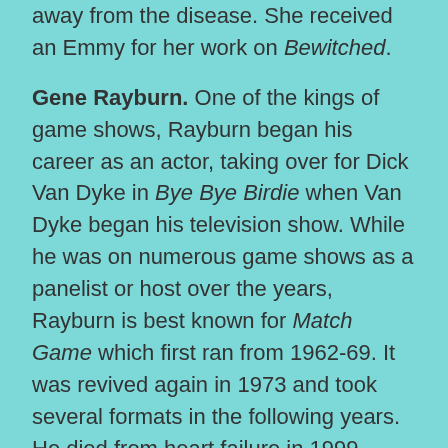away from the disease. She received an Emmy for her work on Bewitched.
Gene Rayburn. One of the kings of game shows, Rayburn began his career as an actor, taking over for Dick Van Dyke in Bye Bye Birdie when Van Dyke began his television show. While he was on numerous game shows as a panelist or host over the years, Rayburn is best known for Match Game which first ran from 1962-69. It was revived again in 1973 and took several formats in the following years.  He died from heart failure in 1999.
Isabel Sanford. Best known as Louise Jefferson, she grew up in Harlem and performed in amateur nights at the Apollo Theatre. Her Broadway debut was in 1965. After appearing as a maid in Guess Who's Coming to